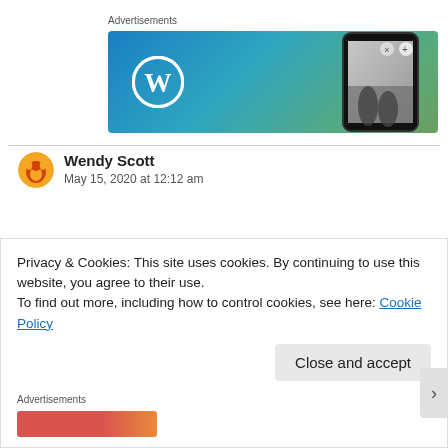Advertisements
[Figure (screenshot): WordPress advertisement banner with blue-to-green gradient background, WordPress logo on left, phone showing photo on right]
Wendy Scott
May 15, 2020 at 12:12 am
Privacy & Cookies: This site uses cookies. By continuing to use this website, you agree to their use.
To find out more, including how to control cookies, see here: Cookie Policy
Close and accept
Advertisements